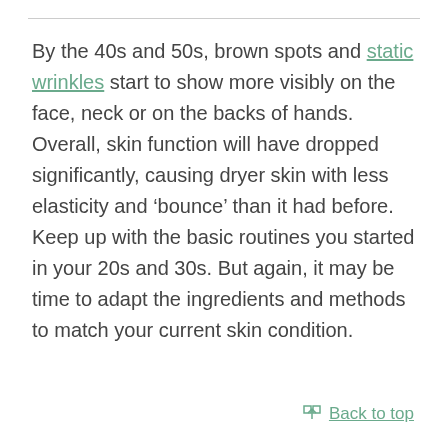By the 40s and 50s, brown spots and static wrinkles start to show more visibly on the face, neck or on the backs of hands. Overall, skin function will have dropped significantly, causing dryer skin with less elasticity and ‘bounce’ than it had before. Keep up with the basic routines you started in your 20s and 30s. But again, it may be time to adapt the ingredients and methods to match your current skin condition.
Back to top